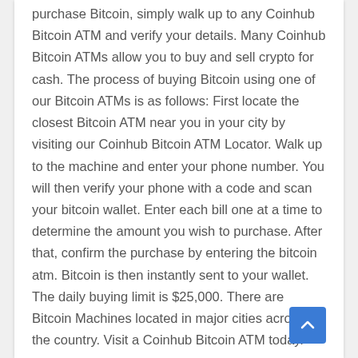purchase Bitcoin, simply walk up to any Coinhub Bitcoin ATM and verify your details. Many Coinhub Bitcoin ATMs allow you to buy and sell crypto for cash. The process of buying Bitcoin using one of our Bitcoin ATMs is as follows: First locate the closest Bitcoin ATM near you in your city by visiting our Coinhub Bitcoin ATM Locator. Walk up to the machine and enter your phone number. You will then verify your phone with a code and scan your bitcoin wallet. Enter each bill one at a time to determine the amount you wish to purchase. After that, confirm the purchase by entering the bitcoin atm. Bitcoin is then instantly sent to your wallet. The daily buying limit is $25,000. There are Bitcoin Machines located in major cities across the country. Visit a Coinhub Bitcoin ATM today.
This Coinhub Bitcoin ATM located inside of Corona Liquor located at 619 W 6th St., Corona, CA 92882,